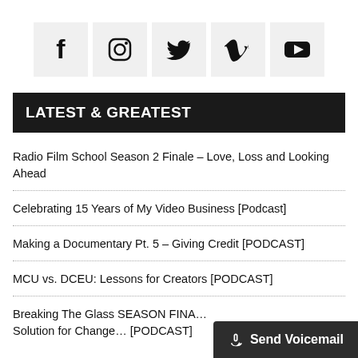[Figure (infographic): Row of five social media icon buttons: Facebook (f), Instagram (circle camera), Twitter (bird), Vimeo (V), YouTube (play button arrow in rectangle). Each on a light grey square background.]
LATEST & GREATEST
Radio Film School Season 2 Finale – Love, Loss and Looking Ahead
Celebrating 15 Years of My Video Business [Podcast]
Making a Documentary Pt. 5 – Giving Credit [PODCAST]
MCU vs. DCEU: Lessons for Creators [PODCAST]
Breaking The Glass SEASON FINA… Solution for Change… [PODCAST]
[Figure (other): Send Voicemail button overlay in bottom-right corner, dark background with microphone icon and text 'Send Voicemail']